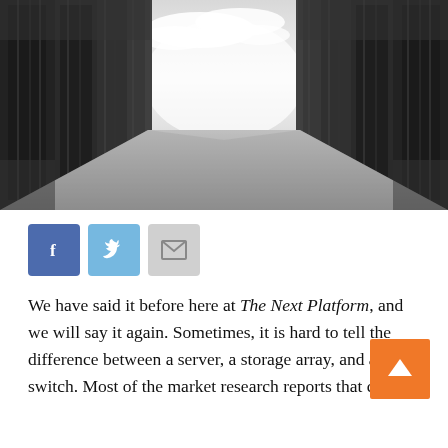[Figure (photo): Black and white photograph of a data center corridor with server racks lining both sides, converging toward a bright center with a cloudy sky overhead.]
[Figure (infographic): Social media sharing buttons: Facebook (blue), Twitter (light blue), and Email/mail (gray).]
We have said it before here at The Next Platform, and we will say it again. Sometimes, it is hard to tell the difference between a server, a storage array, and a switch. Most of the market research reports that come